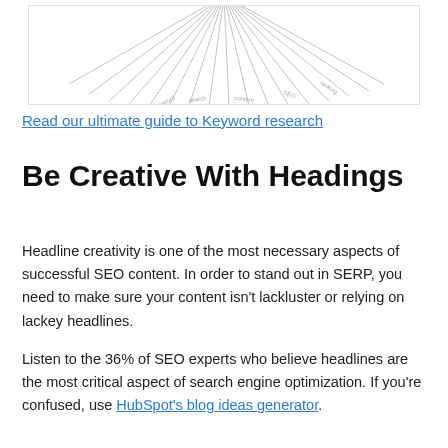[Figure (illustration): Partial view of a radial sunburst or word-web diagram with lines radiating outward, shown at the top of the page, cropped.]
Read our ultimate guide to Keyword research
Be Creative With Headings
Headline creativity is one of the most necessary aspects of successful SEO content. In order to stand out in SERP, you need to make sure your content isn't lackluster or relying on lackey headlines.
Listen to the 36% of SEO experts who believe headlines are the most critical aspect of search engine optimization. If you're confused, use HubSpot's blog ideas generator.